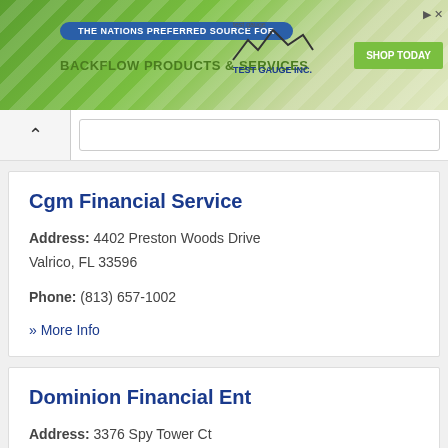[Figure (screenshot): Banner advertisement for Test Gauge Inc. - The Nations Preferred Source for Backflow Products & Services with Shop Today button]
Cgm Financial Service
Address: 4402 Preston Woods Drive Valrico, FL 33596
Phone: (813) 657-1002
» More Info
Dominion Financial Ent
Address: 3376 Spy Tower Ct Valrico, FL 33594
Phone: (813) 685-9325
» More Info